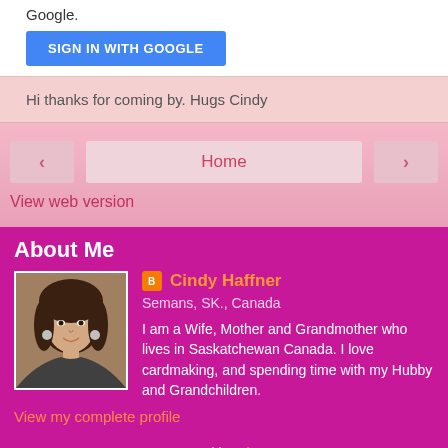Google.
[Figure (other): Blue 'SIGN IN WITH GOOGLE' button]
Hi thanks for coming by. Hugs Cindy
[Figure (other): Navigation bar with back arrow, Home link, forward arrow, and View web version link]
About Me
[Figure (photo): Profile photo of Cindy Haffner, a woman with dark hair and earrings]
Cindy Haffner
Semans, SK., Canada
I am a Wife, Mother and Grandmother who lives in Saskatchewan Canada. I love cardmaking, and spending time with my Hubby and Grandchildren.
View my complete profile
Powered by Blogger.